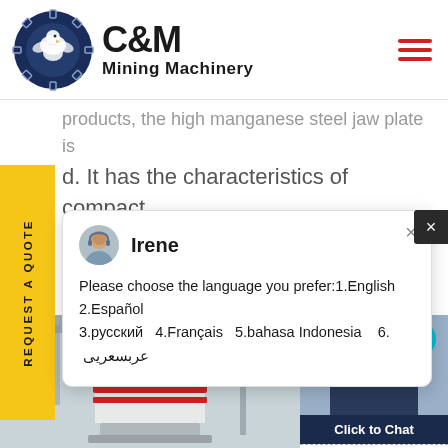[Figure (logo): C&M Mining Machinery logo with eagle/gear emblem in dark blue circle, company name in bold black text]
products, the high manganese steel jaw plate is d. It has the characteristics of compact lcture, strong durability, convenient adjustment,
[Figure (screenshot): Chat popup with agent named Irene showing language selection: 1.English 2.Español 3.русский 4.Français 5.bahasa Indonesia 6. عربسعريى]
[Figure (photo): Industrial machinery/equipment photo, appears to be a cone or separator machine in a warehouse/factory setting]
[Figure (photo): Customer service representative (woman with headset) with cyan circle badge showing number 1, Click to Chat button, Enquiry label]